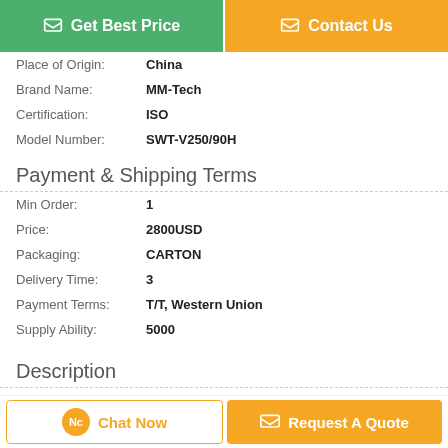Get Best Price | Contact Us
| Place of Origin: | China |
| Brand Name: | MM-Tech |
| Certification: | ISO |
| Model Number: | SWT-V250/90H |
Payment & Shipping Terms
| Min Order: | 1 |
| Price: | 2800USD |
| Packaging: | CARTON |
| Delivery Time: | 3 |
| Payment Terms: | T/T, Western Union |
| Supply Ability: | 5000 |
Description
Chat Now | Request A Quote